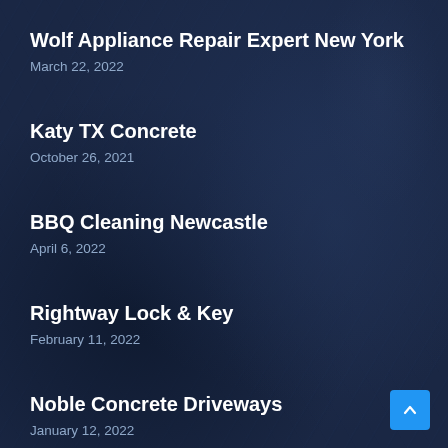Wolf Appliance Repair Expert New York
March 22, 2022
Katy TX Concrete
October 26, 2021
BBQ Cleaning Newcastle
April 6, 2022
Rightway Lock & Key
February 11, 2022
Noble Concrete Driveways
January 12, 2022